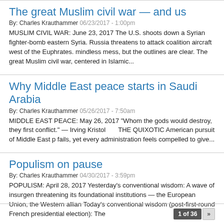The great Muslim civil war — and us
By: Charles Krauthammer 06/23/2017 - 1:00pm
MUSLIM CIVIL WAR: June 23, 2017 The U.S. shoots down a Syrian fighter-bomb eastern Syria. Russia threatens to attack coalition aircraft west of the Euphrates. mindless mess, but the outlines are clear. The great Muslim civil war, centered in Islamic...
Why Middle East peace starts in Saudi Arabia
By: Charles Krauthammer 05/26/2017 - 7:50am
MIDDLE EAST PEACE: May 26, 2017 "Whom the gods would destroy, they first conflict." — Irving Kristol        THE QUIXOTIC American pursuit of Middle East p fails, yet every administration feels compelled to give...
Populism on pause
By: Charles Krauthammer 04/30/2017 - 3:59pm
POPULISM: April 28, 2017 Yesterday's conventional wisdom: A wave of insurgen threatening its foundational institutions — the European Union, the Western allian Today's conventional wisdom (post-first-round French presidential election): The
1 of 36  »